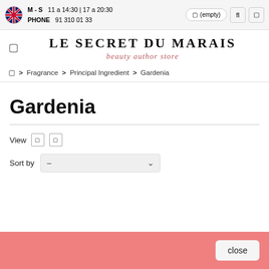M - S  11 a 14:30 | 17 a 20:30  PHONE 91 310 01 33  (empty)
LE SECRET DU MARAIS
beauty author store
🏠 > Fragrance > Principal Ingredient > Gardenia
Gardenia
View  Sort by –